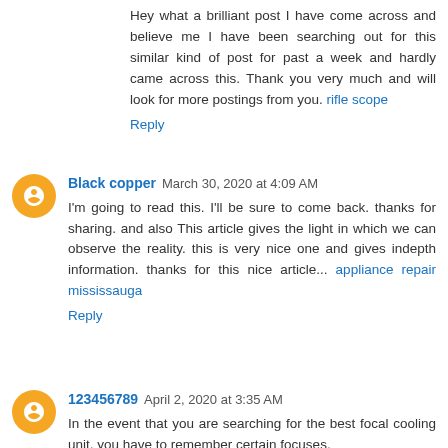Hey what a brilliant post I have come across and believe me I have been searching out for this similar kind of post for past a week and hardly came across this. Thank you very much and will look for more postings from you. rifle scope
Reply
Black copper  March 30, 2020 at 4:09 AM
I'm going to read this. I'll be sure to come back. thanks for sharing. and also This article gives the light in which we can observe the reality. this is very nice one and gives indepth information. thanks for this nice article... appliance repair mississauga
Reply
123456789  April 2, 2020 at 3:35 AM
In the event that you are searching for the best focal cooling unit, you have to remember certain focuses.